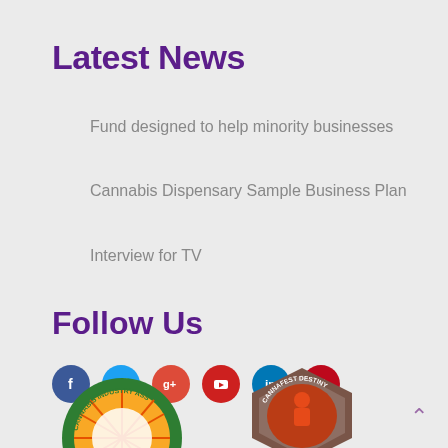Latest News
Fund designed to help minority businesses
Cannabis Dispensary Sample Business Plan
Interview for TV
Follow Us
[Figure (infographic): Social media icons: Facebook (blue), Twitter (light blue), Google+ (red), YouTube (red), LinkedIn (blue), Pinterest (red)]
[Figure (logo): National Cannabis Industry Association circular badge logo with green and yellow sunburst design]
[Figure (logo): Cannafest Destiny badge logo with brown/dark gold hexagonal border and red figure design]